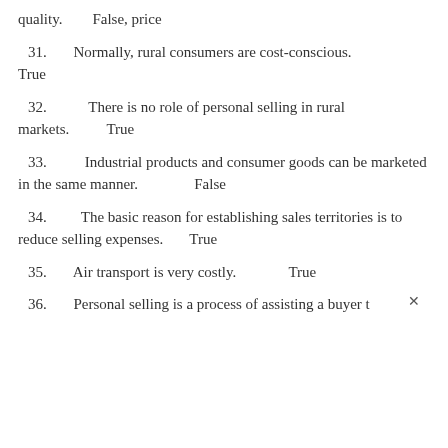quality.        False, price
31.   Normally, rural consumers are cost-conscious.   True
32.       There is no role of personal selling in rural markets.           True
33.     Industrial products and consumer goods can be marketed in the same manner.                False
34.    The basic reason for establishing sales territories is to reduce selling expenses.        True
35.   Air transport is very costly.              True
36.   Personal selling is a process of assisting a buyer t